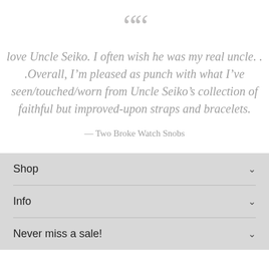““
love Uncle Seiko. I often wish he was my real uncle. . .Overall, I’m pleased as punch with what I’ve seen/touched/worn from Uncle Seiko’s collection of faithful but improved-upon straps and bracelets.
— Two Broke Watch Snobs
Shop
Info
Never miss a sale!